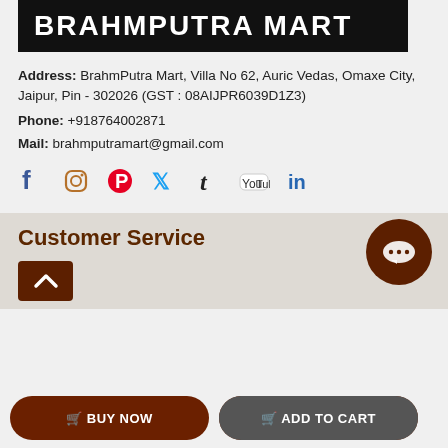[Figure (logo): BrahmPutra Mart logo — white bold text on black background]
Address:  BrahmPutra Mart, Villa No 62, Auric Vedas, Omaxe City, Jaipur, Pin - 302026 (GST : 08AIJPR6039D1Z3)
Phone:  +918764002871
Mail:  brahmputramart@gmail.com
[Figure (infographic): Social media icons row: Facebook, Instagram, Pinterest, Twitter, Tumblr, YouTube, LinkedIn]
Customer Service
[Figure (illustration): Dark brown circular chat bubble button with three dots]
[Figure (illustration): Dark brown scroll-to-top button with up chevron]
BUY NOW
ADD TO CART